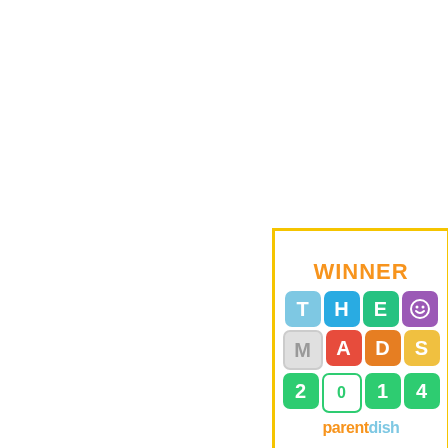[Figure (logo): The MADs 2014 Winner badge from Parentdish. A square with a golden border containing the word WINNER in orange at the top, then colorful letter tiles spelling THE with a smiley face, then MADS, then 2014 in green tiles, then parentdish logo in orange and blue at the bottom.]
[Figure (logo): Small broken image placeholder at the bottom of the page.]